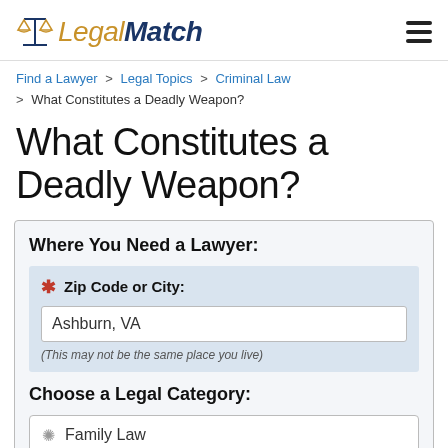LegalMatch
Find a Lawyer > Legal Topics > Criminal Law > What Constitutes a Deadly Weapon?
What Constitutes a Deadly Weapon?
Where You Need a Lawyer:
* Zip Code or City: Ashburn, VA (This may not be the same place you live)
Choose a Legal Category:
Family Law